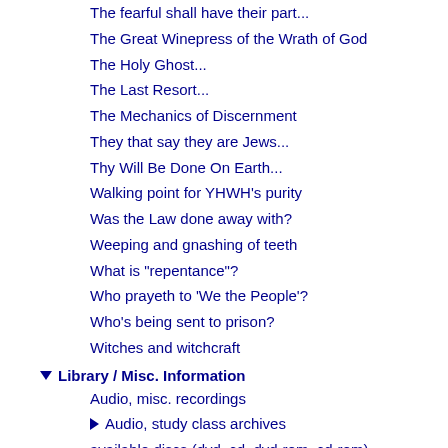The fearful shall have their part...
The Great Winepress of the Wrath of God
The Holy Ghost...
The Last Resort...
The Mechanics of Discernment
They that say they are Jews...
Thy Will Be Done On Earth...
Walking point for YHWH's purity
Was the Law done away with?
Weeping and gnashing of teeth
What is "repentance"?
Who prayeth to 'We the People'?
Who's being sent to prison?
Witches and witchcraft
Library / Misc. Information
Audio, misc. recordings
Audio, study class archives
available discs (dvd, cd, dvd-rom, cd-rom)
Bibles
Biblical economics
Biblical Governance Forum
many just simply w
"The earth is b